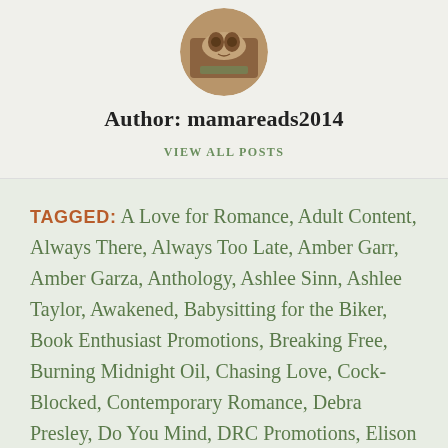[Figure (photo): Circular avatar photo showing a cat or small animal on what appears to be a table]
Author: mamareads2014
VIEW ALL POSTS
TAGGED: A Love for Romance, Adult Content, Always There, Always Too Late, Amber Garr, Amber Garza, Anthology, Ashlee Sinn, Ashlee Taylor, Awakened, Babysitting for the Biker, Book Enthusiast Promotions, Breaking Free, Burning Midnight Oil, Chasing Love, Cock-Blocked, Contemporary Romance, Debra Presley, Do You Mind, DRC Promotions, Elison Grace, Elizabeth Hayes, Erotic Romance, Fairytale, Falling for Lindy, Freya Barker, Kahlen Aymes,